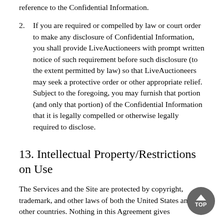reference to the Confidential Information.
2. If you are required or compelled by law or court order to make any disclosure of Confidential Information, you shall provide LiveAuctioneers with prompt written notice of such requirement before such disclosure (to the extent permitted by law) so that LiveAuctioneers may seek a protective order or other appropriate relief. Subject to the foregoing, you may furnish that portion (and only that portion) of the Confidential Information that it is legally compelled or otherwise legally required to disclose.
13. Intellectual Property/Restrictions on Use
The Services and the Site are protected by copyright, trademark, and other laws of both the United States and other countries. Nothing in this Agreement gives